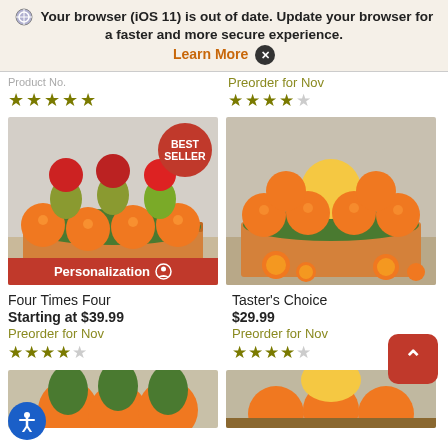Your browser (iOS 11) is out of date. Update your browser for a faster and more secure experience. Learn More X
Preorder for Nov
★★★★★ (5 stars)
Preorder for Nov
★★★★½ (4.5 stars)
[Figure (photo): A basket of mixed fruit including oranges, pears, and apples with a Best Seller badge and Personalization bar. Product: Four Times Four.]
[Figure (photo): A basket of oranges and a grapefruit with orange slices in front. Product: Taster's Choice.]
Four Times Four
Starting at $39.99
Preorder for Nov
★★★★½ (4.5 stars)
Taster's Choice
$29.99
Preorder for Nov
★★★★½ (4.5 stars)
[Figure (photo): Partial bottom image of fruit basket (left side)]
[Figure (photo): Partial bottom image of fruit basket (right side)]